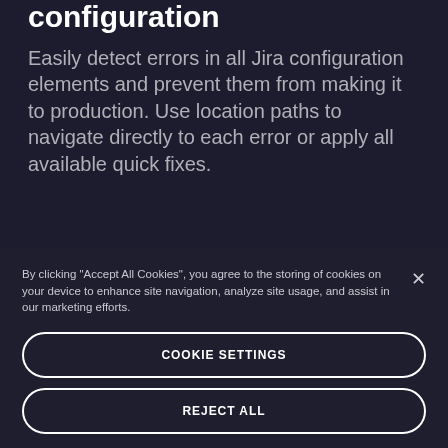configuration
Easily detect errors in all Jira configuration elements and prevent them from making it to production. Use location paths to navigate directly to each error or apply all available quick fixes.
By clicking “Accept All Cookies”, you agree to the storing of cookies on your device to enhance site navigation, analyze site usage, and assist in our marketing efforts.
COOKIE SETTINGS
REJECT ALL